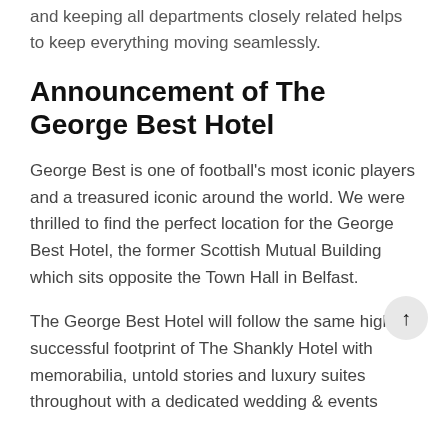and keeping all departments closely related helps to keep everything moving seamlessly.
Announcement of The George Best Hotel
George Best is one of football's most iconic players and a treasured iconic around the world. We were thrilled to find the perfect location for the George Best Hotel, the former Scottish Mutual Building which sits opposite the Town Hall in Belfast.
The George Best Hotel will follow the same high-successful footprint of The Shankly Hotel with memorabilia, untold stories and luxury suites throughout with a dedicated wedding & events